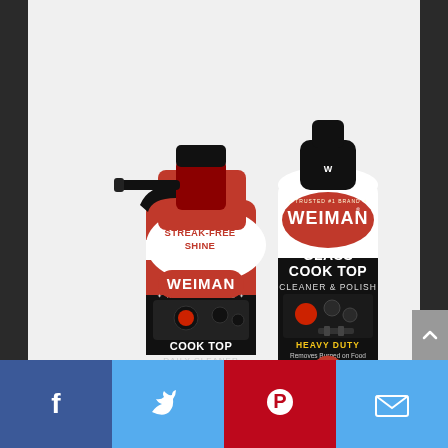[Figure (photo): Two Weiman Cook Top cleaning product bottles: a red and white spray bottle labeled 'COOK TOP DAILY CLEANER' with 'STREAK-FREE SHINE' text, and a white squeeze bottle labeled 'GLASS COOK TOP CLEANER & POLISH' with 'HEAVY DUTY Removes Burned on Food' text. Both bottles show the WEIMAN brand name and have images of a glass cooktop on the label.]
[Figure (infographic): Social media sharing bar at the bottom with four buttons: Facebook (dark blue, f icon), Twitter (light blue, bird icon), Pinterest (red, P icon), Email (light blue, envelope icon)]